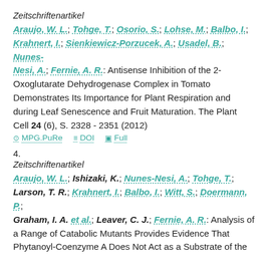Zeitschriftenartikel
Araujo, W. L.; Tohge, T.; Osorio, S.; Lohse, M.; Balbo, I.; Krahnert, I.; Sienkiewicz-Porzucek, A.; Usadel, B.; Nunes-Nesi, A.; Fernie, A. R.: Antisense Inhibition of the 2-Oxoglutarate Dehydrogenase Complex in Tomato Demonstrates Its Importance for Plant Respiration and during Leaf Senescence and Fruit Maturation. The Plant Cell 24 (6), S. 2328 - 2351 (2012)
MPG.PuRe   DOI   Full
4.
Zeitschriftenartikel
Araujo, W. L.; Ishizaki, K.; Nunes-Nesi, A.; Tohge, T.; Larson, T. R.; Krahnert, I.; Balbo, I.; Witt, S.; Doermann, P.; Graham, I. A. et al.; Leaver, C. J.; Fernie, A. R.: Analysis of a Range of Catabolic Mutants Provides Evidence That Phytanoyl-Coenzyme A Does Not Act as a Substrate of the